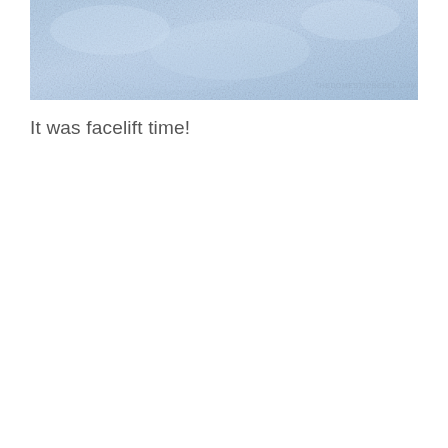[Figure (photo): Close-up photo of a light blue textured fabric or surface with a watermark reading THEDOMESTICREBEL.COM in the bottom right corner.]
It was facelift time!